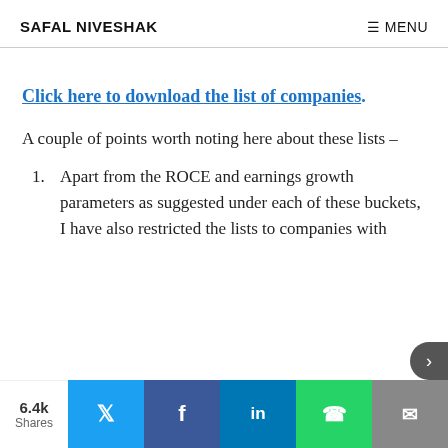SAFAL NIVESHAK   ≡ MENU
Click here to download the list of companies.
A couple of points worth noting here about these lists –
Apart from the ROCE and earnings growth parameters as suggested under each of these buckets, I have also restricted the lists to companies with